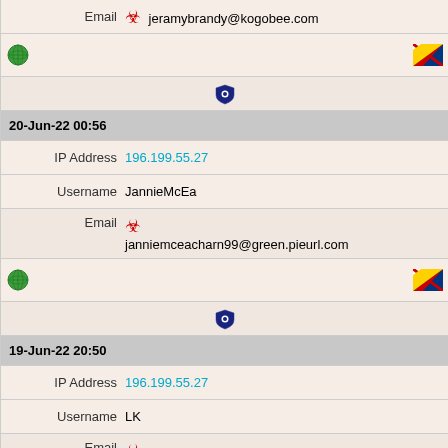Email ☣ jeramybrandy@kogobee.com
[Figure (infographic): Globe icon on left, Seychelles flag on right]
[Figure (infographic): Dark blue shield/lock icon]
20-Jun-22 00:56
IP Address 196.199.55.27
Username JannieMcEa
Email ☣ janniemceacharn99@green.pieurl.com
[Figure (infographic): Globe icon on left, Seychelles flag on right]
[Figure (infographic): Dark blue shield/lock icon]
19-Jun-22 20:50
IP Address 196.199.55.27
Username LK
Email ☣ paulinapoltpalingada18@hard.raytoy.com
[Figure (infographic): Globe icon on left, Seychelles flag on right]
[Figure (infographic): Dark blue shield/lock icon]
19-Jun-22 16:32